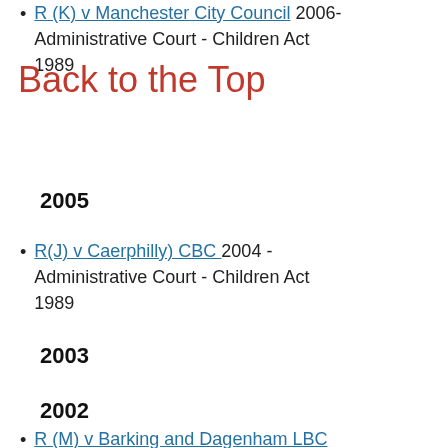R (K) v Manchester City Council 2006- Administrative Court - Children Act 1989
Back to the Top
2005
R(J) v Caerphilly) CBC 2004 - Administrative Court - Children Act 1989
2003
R(G) v. Barnet LBC 2003 - House of Lords - Children Act 1989
2002
R (M) v Barking and Dagenham LBC